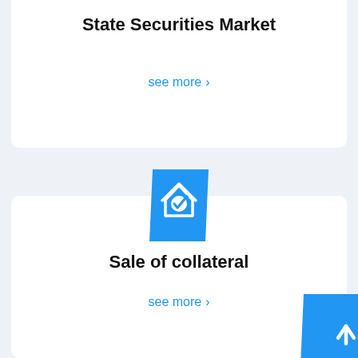State Securities Market
see more >
[Figure (illustration): Blue parallelogram/diamond shaped icon with a white house outline and a blue checkmark inside it, representing collateral or property verification]
Sale of collateral
see more >
[Figure (illustration): Blue parallelogram button with a white upward arrow (scroll-to-top button) in the bottom-right corner]